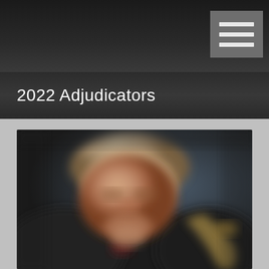2022 Adjudicators
[Figure (photo): Blurred portrait photo of a person holding a saxophone, wearing dark clothing, with a dark background. The face is visible but out of focus.]